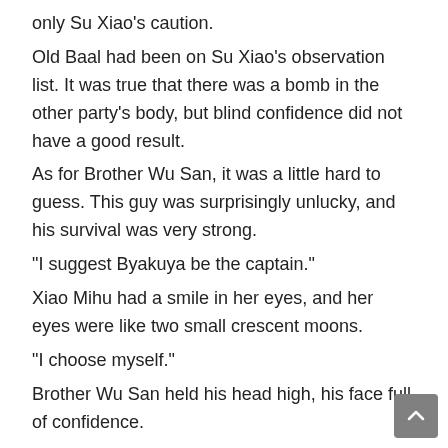only Su Xiao's caution.
Old Baal had been on Su Xiao's observation list. It was true that there was a bomb in the other party's body, but blind confidence did not have a good result.
As for Brother Wu San, it was a little hard to guess. This guy was surprisingly unlucky, and his survival was very strong.
“I suggest Byakuya be the captain.”
Xiao Mihu had a smile in her eyes, and her eyes were like two small crescent moons.
“I choose myself.”
Brother Wu San held his head high, his face full of confidence.
“Xiao Mihu.”
“Xiao Mihu.”
Su Xiao and Old Baal spoke almost one after the other. The